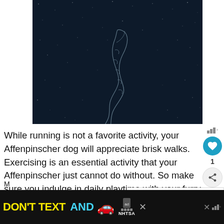[Figure (illustration): Dark navy starfield background with a faint glowing outline illustration of a saxophone or musical instrument shape in the center]
While running is not a favorite activity, your Affenpinscher dog will appreciate brisk walks. Exercising is an essential activity that your Affenpinscher just cannot do without. So make sure you indulge in daily playtime with your furry friend.
[Figure (infographic): What's Next panel with thumbnail of a black dog and text: WHAT'S NEXT → 10 Best Activities Fo...]
[Figure (infographic): NHTSA advertisement banner: DON'T TEXT AND [car emoji] with NHTSA logo on dark background]